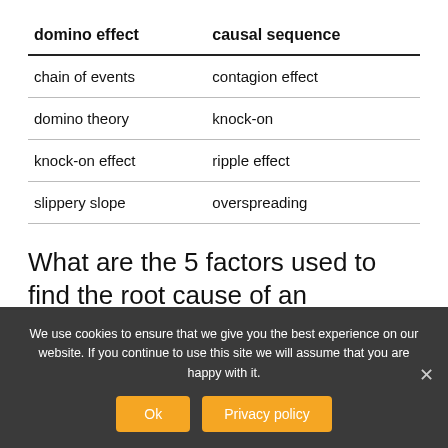| domino effect | causal sequence |
| --- | --- |
| chain of events | contagion effect |
| domino theory | knock-on |
| knock-on effect | ripple effect |
| slippery slope | overspreading |
What are the 5 factors used to find the root cause of an accident?
We use cookies to ensure that we give you the best experience on our website. If you continue to use this site we will assume that you are happy with it.